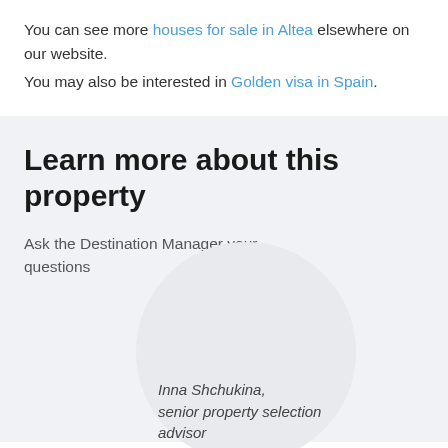You can see more houses for sale in Altea elsewhere on our website. You may also be interested in Golden visa in Spain.
Learn more about this property
Ask the Destination Manager your questions
[Figure (illustration): Circular avatar/profile image placeholder with text 'Inna Shchukina, senior property selection advisor' in italic]